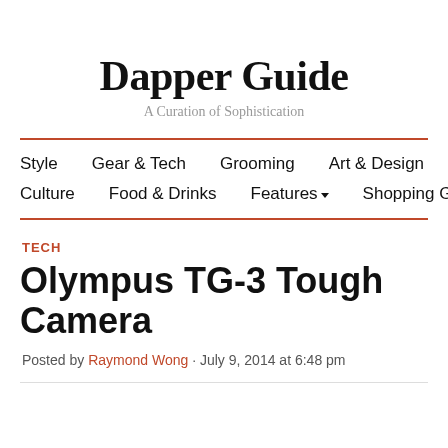Dapper Guide
A Curation of Sophistication
Style  Gear & Tech  Grooming  Art & Design  Culture  Food & Drinks  Features  Shopping Guide
TECH
Olympus TG-3 Tough Camera
Posted by Raymond Wong · July 9, 2014 at 6:48 pm